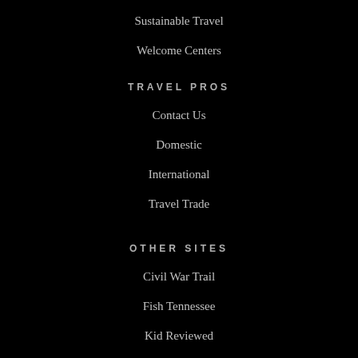Sustainable Travel
Welcome Centers
TRAVEL PROS
Contact Us
Domestic
International
Travel Trade
OTHER SITES
Civil War Trail
Fish Tennessee
Kid Reviewed
TN Merchandise
Pick TN Products
Play TN Sports